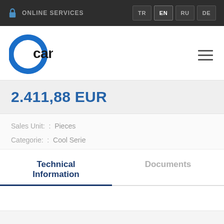ONLINE SERVICES | TR EN RU DE
[Figure (logo): Cantaş company logo — blue C arc symbol with 'cantaş' wordmark in dark sans-serif]
2.411,88 EUR
Sales Unit:  :  Pieces
Categorie:  :  Cool Serie
Technical Information | Documents